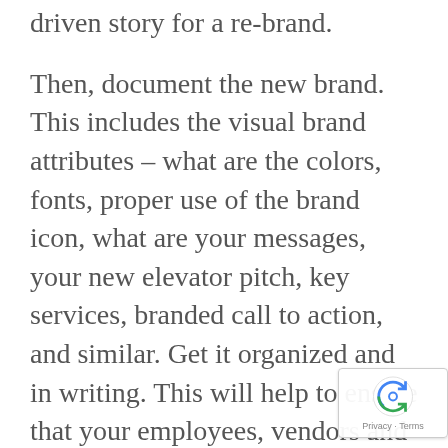driven story for a re-brand.
Then, document the new brand. This includes the visual brand attributes – what are the colors, fonts, proper use of the brand icon, what are your messages, your new elevator pitch, key services, branded call to action, and similar. Get it organized and in writing. This will help to ensure that your employees, vendors and in some cases, even your clients will be able to clearly illustrate and communicate your new brand in a consistent fashion.  If you stick to your messages, your messages will stick, but your team needs to be onboard too.